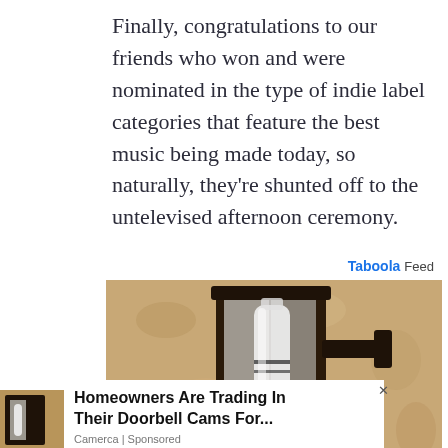Finally, congratulations to our friends who won and were nominated in the type of indie label categories that feature the best music being made today, so naturally, they're shunted off to the untelevised afternoon ceremony.
[Figure (screenshot): Taboola Feed advertisement showing outdoor wall lantern with a water bottle inside, with overlay ad card reading 'Homeowners Are Trading In Their Doorbell Cams For...' from Camerca, Sponsored]